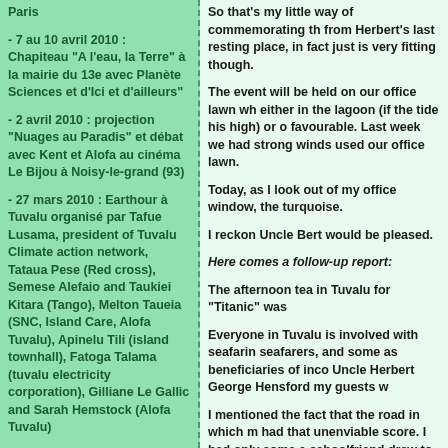Paris
- 7 au 10 avril 2010 : Chapiteau "A l'eau, la Terre" à la mairie du 13e avec Planète Sciences et d'Ici et d'ailleurs"
- 2 avril 2010 : projection "Nuages au Paradis" et débat avec Kent et Alofa au cinéma Le Bijou à Noisy-le-grand (93)
- 27 mars 2010 : Earthour à Tuvalu organisé par Tafue Lusama, president of Tuvalu Climate action network, Tataua Pese (Red cross), Semese Alefaio and Taukiei Kitara (Tango), Melton Taueia (SNC, Island Care, Alofa Tuvalu), Apinelu Tili (island townhall), Fatoga Talama (tuvalu electricity corporation), Gilliane Le Gallic and Sarah Hemstock (Alofa Tuvalu)
- 15 mars 2010 : Projection de "Trouble in Paradise" à l'Alliance Française de New York par The nature conservancy.
- 2 mars au 20 avril 2010 : mission biogas à Nanuméa (réunions communautaires)
- Du 26 février au 1er Mars 2010 : Festival des Grandes
So that's my little way of commemorating the from Herbert's last resting place, in fact jus is very fitting though.
The event will be held on our office lawn wh either in the lagoon (if the tide his high) or o favourable. Last week we had strong winds used our office lawn.
Today, as I look out of my office window, the turquoise.
I reckon Uncle Bert would be pleased.
Here comes a follow-up report:
The afternoon tea in Tuvalu for "Titanic" wa
Everyone in Tuvalu is involved with seafarin seafarers, and some as beneficiaries of inco Uncle Herbert George Hensford my guests w
I mentioned the fact that the road in which m had that unenviable score. I had only come schoolfriend drew to my attention.
Something went wrong with the arrangemen the delights of bed discouraged them going home a dozen beautiful fish (all different var up two giant clams. The meat from each was received by everyone, myself included. The straight on the barbecue and then to the tab
The band was just fabulous. I'm not a fan of without shaking the building. As expected, t on the invitations.
People just didn't want to go and I was ha